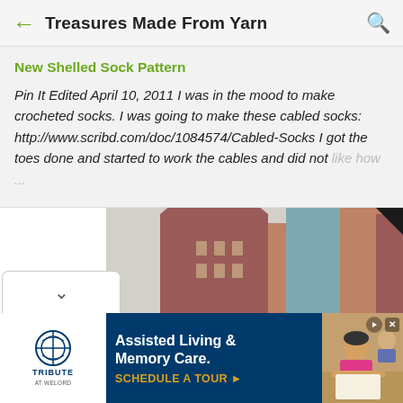Treasures Made From Yarn
New Shelled Sock Pattern
Pin It Edited April 10, 2011 I was in the mood to make crocheted socks. I was going to make these cabled socks: http://www.scribd.com/doc/1084574/Cabled-Socks I got the toes done and started to work the cables and did not like how ...
[Figure (photo): Partial view of a building with geometric architecture in red, tan, and teal colors]
[Figure (screenshot): Advertisement for Tribute at Welord - Assisted Living & Memory Care with Schedule a Tour call to action]